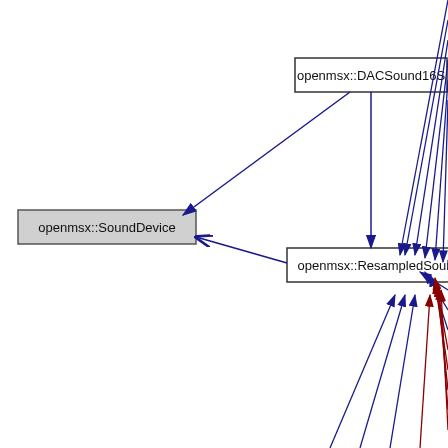[Figure (network-graph): UML class/dependency diagram showing openmsx::DACSound16S, openmsx::SoundDevice, and openmsx::ResampledSoundDevice nodes with blue inheritance arrows and red dependency arrows. Multiple edges converge on openmsx::ResampledSoundDevice from off-screen nodes at right. openmsx::ResampledSoundDevice has an arrow pointing to openmsx::SoundDevice.]